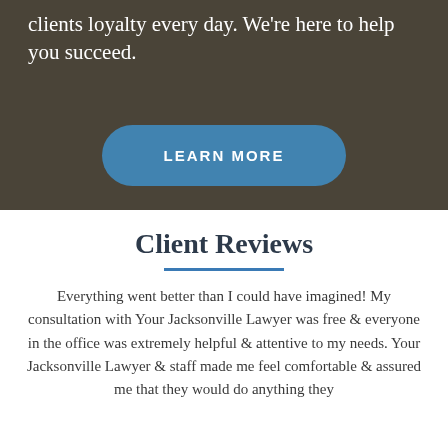clients loyalty every day. We're here to help you succeed.
LEARN MORE
Client Reviews
Everything went better than I could have imagined! My consultation with Your Jacksonville Lawyer was free & everyone in the office was extremely helpful & attentive to my needs. Your Jacksonville Lawyer & staff made me feel comfortable & assured me that they would do anything they